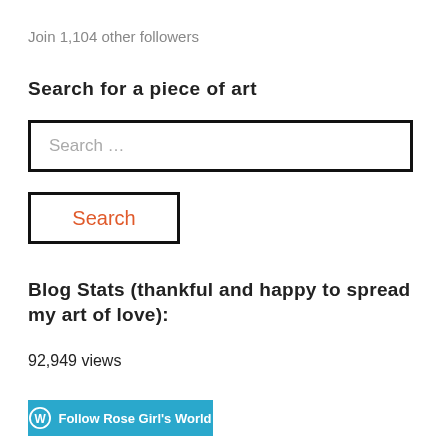Join 1,104 other followers
Search for a piece of art
Search …
Search
Blog Stats (thankful and happy to spread my art of love):
92,949 views
[Figure (other): Blue button with WordPress logo and text 'Follow Rose Girl's World']